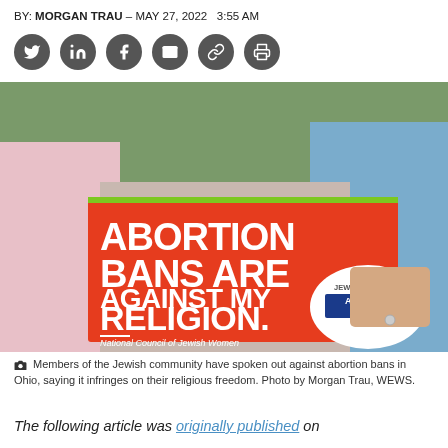BY: MORGAN TRAU - MAY 27, 2022   3:55 AM
[Figure (other): Six social media sharing icons (Twitter, LinkedIn, Facebook, Email, Link, Print) as dark gray circles with white symbols]
[Figure (photo): People holding a red sign reading 'ABORTION BANS ARE AGAINST MY RELIGION.' with National Council of Jewish Women branding and a Jewish Rally for Abortion Justice sticker visible]
Members of the Jewish community have spoken out against abortion bans in Ohio, saying it infringes on their religious freedom. Photo by Morgan Trau, WEWS.
The following article was originally published on